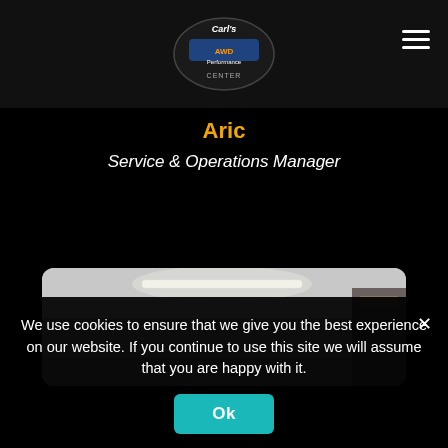Carl's AWD & Performance Center — Navigation
Aric
Service & Operations Manager
[Figure (photo): Photo of a garage or shop interior, partially visible, showing fluorescent ceiling lights and some shelving or equipment.]
We use cookies to ensure that we give you the best experience on our website. If you continue to use this site we will assume that you are happy with it.